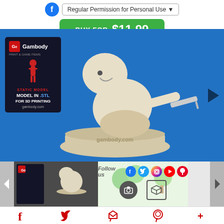Regular Permission for Personal Use
BUY FOR $11.99
[Figure (photo): 3D printed figurine of a cartoon character bending over with a syringe, on a round gambody.com base, blue background. Gambody logo card overlay with text: STATIC MODEL, MODEL IN .STL, FOR 3D PRINTING, gambody.com]
[Figure (photo): Thumbnail 1: smaller view of the same 3D figurine on dark background]
[Figure (photo): Thumbnail 2: green tree-like 3D printed models on light background with measurement overlay]
Follow us
Social media icons: Facebook, Twitter, Instagram, YouTube, Pinterest
Bottom navigation icons: Facebook, Twitter, Email/share, Pinterest, More (+)